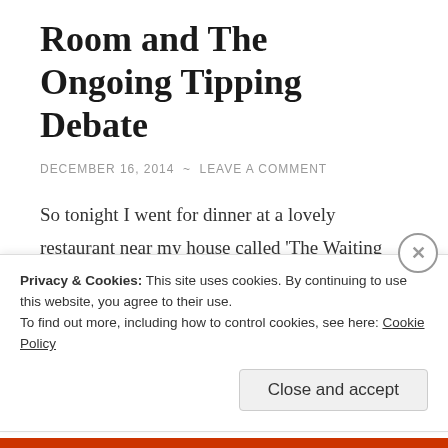Room and The Ongoing Tipping Debate
DECEMBER 16, 2014  ~  LEAVE A COMMENT
So tonight I went for dinner at a lovely restaurant near my house called 'The Waiting Room' in Eaglescliffe. It vegetarian, but don't let that put you off; it's been voted one of the best restaurants in the UK (and that's including the ones that have meat!) and I've been going regularly for years.
Privacy & Cookies: This site uses cookies. By continuing to use this website, you agree to their use.
To find out more, including how to control cookies, see here: Cookie Policy
Close and accept